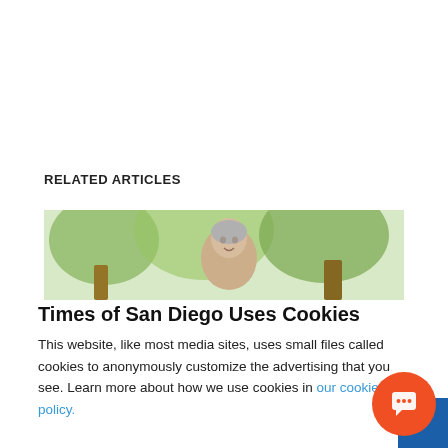RELATED ARTICLES
[Figure (photo): Outdoor scene with an older man smiling near trees with green foliage]
Times of San Diego Uses Cookies
This website, like most media sites, uses small files called cookies to anonymously customize the advertising that you see. Learn more about how we use cookies in our cookie policy.